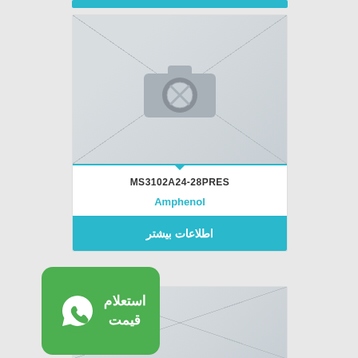[Figure (photo): Product placeholder image with camera icon for MS3102A24-28PRES connector]
MS3102A24-28PRES
Amphenol
اطلاعات بیشتر
[Figure (logo): WhatsApp price inquiry badge with green background showing WhatsApp icon and Persian text 'استعلام قیمت']
[Figure (photo): Second product placeholder image (partial view)]